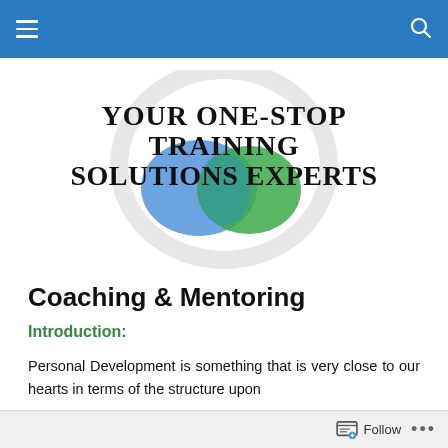Navigation bar with hamburger menu and search icon
[Figure (logo): Company logo with circular arrow graphic behind overlapping blue and green blobs, text reading YOUR ONE-STOP TRAINING SOLUTIONS EXPERTS in large serif font]
Coaching & Mentoring
Introduction:
Personal Development is something that is very close to our hearts in terms of the structure upon
Follow ...